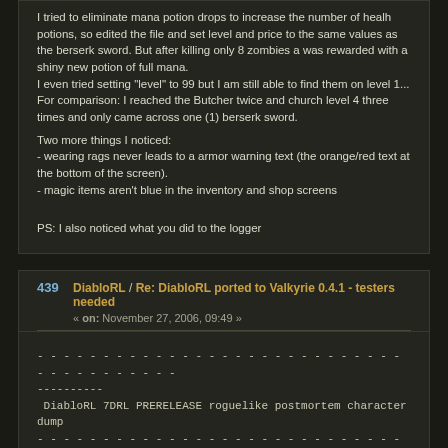I tried to eliminate mana potion drops to increase the number of healh potions, so edited the file and set level and price to the same values as the berserk sword. But after killing only 8 zombies a was rewarded with a shiny new potion of full mana.
I even tried setting "level" to 99 but I am still able to find them on level 1...
For comparison: I reached the Butcher twice and church level 4 three times and only came across one (1) berserk sword.

Two more things I noticed:
- wearing rags never leads to a armor warning text (the orange/red text at the bottom of the screen).
- magic items aren't blue in the inventory and shop screens



PS: I also noticed what you did to the logger
439 DiabloRL / Re: DiabloRL ported to Valkyrie 0.4.1 - testers needed
« on: November 27, 2006, 09:49 »
- - - - - - - - - - - - - - - - - - - - - - - - - - - - - - - - - - - - - - - - - - - - - - - - - - - - - - ----------
 DiabloRL 7DRL PRERELEASE roguelike postmortem character dump
- - - - - - - - - - - - - - - - - - - - - - - - - - - - - - - - - - - - - - - - - - - - - - - - - - - - - - ----------